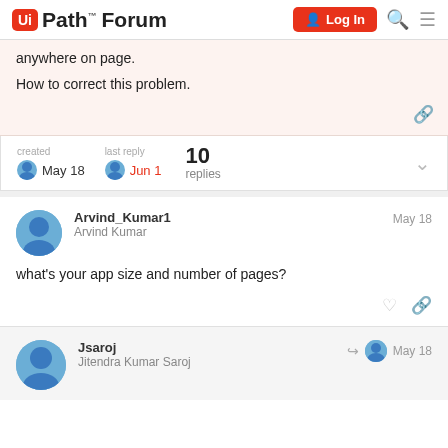UiPath Forum | Log In
anywhere on page.
How to correct this problem.
created May 18  last reply Jun 1  10 replies
Arvind_Kumar1
Arvind Kumar
May 18
what's your app size and number of pages?
Jsaroj
Jitendra Kumar Saroj
May 18